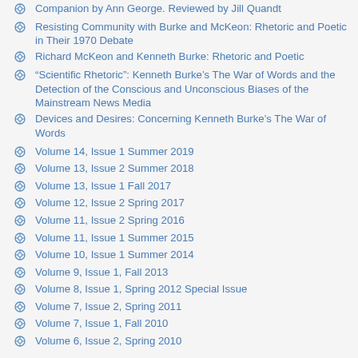Companion by Ann George. Reviewed by Jill Quandt
Resisting Community with Burke and McKeon: Rhetoric and Poetic in Their 1970 Debate
Richard McKeon and Kenneth Burke: Rhetoric and Poetic
“Scientific Rhetoric”: Kenneth Burke’s The War of Words and the Detection of the Conscious and Unconscious Biases of the Mainstream News Media
Devices and Desires: Concerning Kenneth Burke’s The War of Words
Volume 14, Issue 1 Summer 2019
Volume 13, Issue 2 Summer 2018
Volume 13, Issue 1 Fall 2017
Volume 12, Issue 2 Spring 2017
Volume 11, Issue 2 Spring 2016
Volume 11, Issue 1 Summer 2015
Volume 10, Issue 1 Summer 2014
Volume 9, Issue 1, Fall 2013
Volume 8, Issue 1, Spring 2012 Special Issue
Volume 7, Issue 2, Spring 2011
Volume 7, Issue 1, Fall 2010
Volume 6, Issue 2, Spring 2010